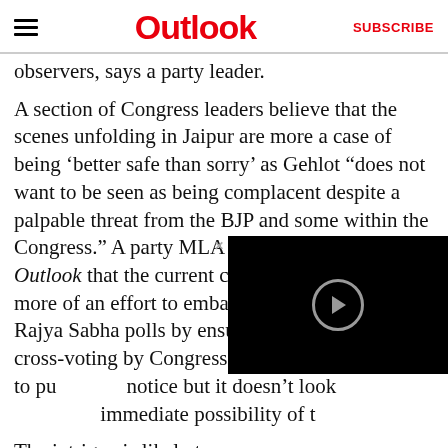Outlook | SUBSCRIBE
observers, says a party leader.
A section of Congress leaders believe that the scenes unfolding in Jaipur are more a case of being ‘better safe than sorry’ as Gehlot “does not want to be seen as being complacent despite a palpable threat from the BJP and some within the Congress.” A party MLA close to Gehlot tells Outlook that the current churning “appears to be more of an effort to embarrass Gehlot during the Rajya Sabha polls by ensuring some amount of cross-voting by Congress or independent MLAs to pu notice but it doesn’t look immediate possibility of t
[Figure (screenshot): Black video player overlay with circular play button icon and close button]
The intrigue is likely to co legislators cast their votes for the Rajya Sabha